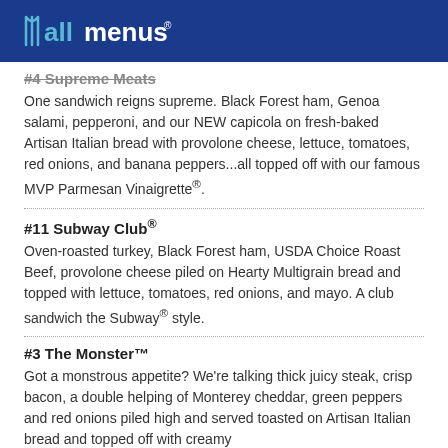allmenus
#4 Supreme Meats
One sandwich reigns supreme. Black Forest ham, Genoa salami, pepperoni, and our NEW capicola on fresh-baked Artisan Italian bread with provolone cheese, lettuce, tomatoes, red onions, and banana peppers...all topped off with our famous MVP Parmesan Vinaigrette®.
#11 Subway Club®
Oven-roasted turkey, Black Forest ham, USDA Choice Roast Beef, provolone cheese piled on Hearty Multigrain bread and topped with lettuce, tomatoes, red onions, and mayo. A club sandwich the Subway® style.
#3 The Monster™
Got a monstrous appetite? We're talking thick juicy steak, crisp bacon, a double helping of Monterey cheddar, green peppers and red onions piled high and served toasted on Artisan Italian bread and topped off with creamy Peppercorn Ranch.